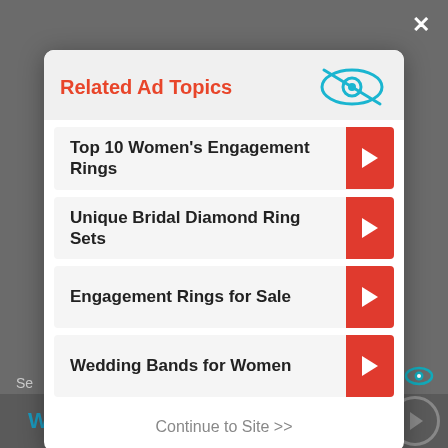Related Ad Topics
Top 10 Women's Engagement Rings
Unique Bridal Diamond Ring Sets
Engagement Rings for Sale
Wedding Bands for Women
Continue to Site >>
Wedding Rings for Women